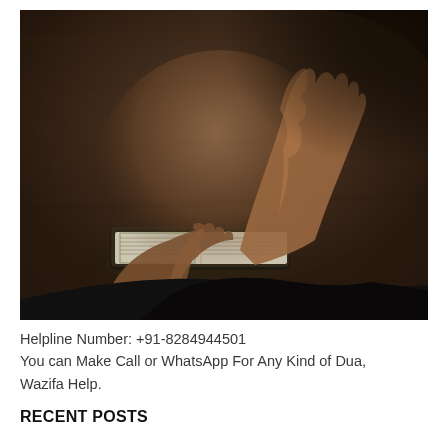[Figure (photo): A person with hands raised open in a supplication/dua pose over an open Quran book lying on a dark wooden surface. The photo is dark and moody.]
Helpline Number: +91-8284944501
You can Make Call or WhatsApp For Any Kind of Dua, Wazifa Help.
RECENT POSTS